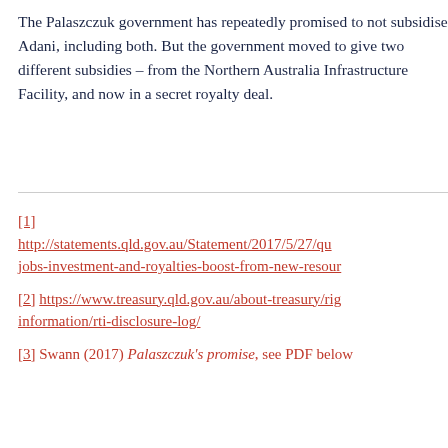The Palaszczuk government has repeatedly promised to not subsidise Adani, including both. But the government moved to give two different subsidies – from the Northern Australia Infrastructure Facility, and now in a secret royalty deal.
[1] http://statements.qld.gov.au/Statement/2017/5/27/queensland-jobs-investment-and-royalties-boost-from-new-resources
[2] https://www.treasury.qld.gov.au/about-treasury/right-to-information/rti-disclosure-log/
[3] Swann (2017) Palaszczuk's promise, see PDF below